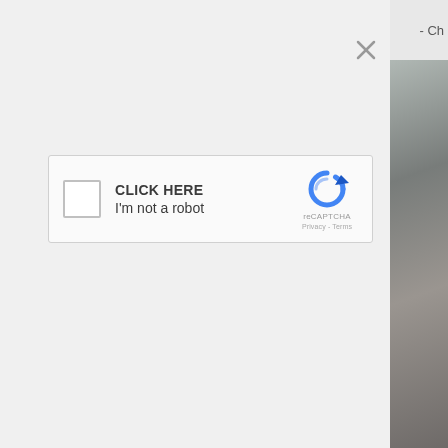[Figure (screenshot): A reCAPTCHA dialog overlay on a webpage. The left portion shows a light gray background with an X close button in the upper right and a reCAPTCHA widget in the center. The widget has a checkbox on the left, text 'CLICK HERE' and 'I'm not a robot' in the middle, and the reCAPTCHA logo with 'reCAPTCHA' label and 'Privacy - Terms' link on the right. The right edge of the image shows a partially visible photo with gray/brown tones and the text '- Ch' visible at the top.]